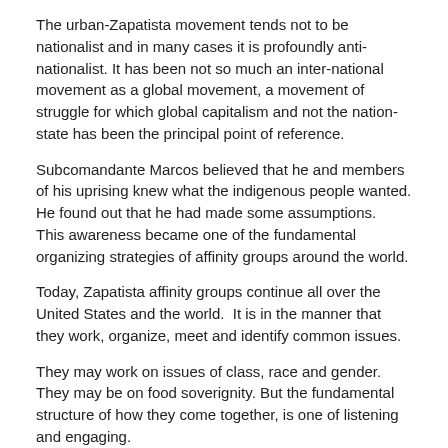The urban-Zapatista movement tends not to be nationalist and in many cases it is profoundly anti-nationalist. It has been not so much an inter-national movement as a global movement, a movement of struggle for which global capitalism and not the nation-state has been the principal point of reference.
Subcomandante Marcos believed that he and members of his uprising knew what the indigenous people wanted. He found out that he had made some assumptions.  This awareness became one of the fundamental organizing strategies of affinity groups around the world.
Today, Zapatista affinity groups continue all over the United States and the world.  It is in the manner that they work, organize, meet and identify common issues.
They may work on issues of class, race and gender.  They may be on food soverignity. But the fundamental structure of how they come together, is one of listening and engaging.
http://www.radiozapatista.org/english.html
http://accionzapatista.net/